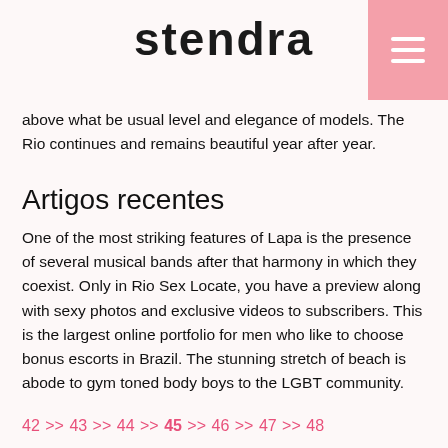STENDRA
above what be usual level and elegance of models. The Rio continues and remains beautiful year after year.
Artigos recentes
One of the most striking features of Lapa is the presence of several musical bands after that harmony in which they coexist. Only in Rio Sex Locate, you have a preview along with sexy photos and exclusive videos to subscribers. This is the largest online portfolio for men who like to choose bonus escorts in Brazil. The stunning stretch of beach is abode to gym toned body boys to the LGBT community.
42 >> 43 >> 44 >> 45 >> 46 >> 47 >> 48
Saiba mais...